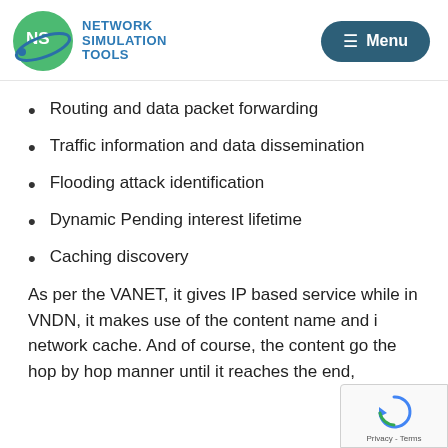Network Simulation Tools — Menu
Routing and data packet forwarding
Traffic information and data dissemination
Flooding attack identification
Dynamic Pending interest lifetime
Caching discovery
As per the VANET, it gives IP based service while in VNDN, it makes use of the content name and i… network cache. And of course, the content go… the hop by hop manner until it reaches the end,